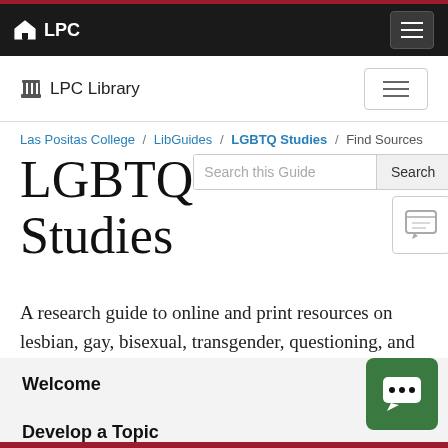LPC
LPC Library
Las Positas College / LibGuides / LGBTQ Studies / Find Sources
LGBTQ Studies
Search this Guide
A research guide to online and print resources on lesbian, gay, bisexual, transgender, questioning, and queer people, gender expression, and sexual identity.
Welcome
Develop a Topic